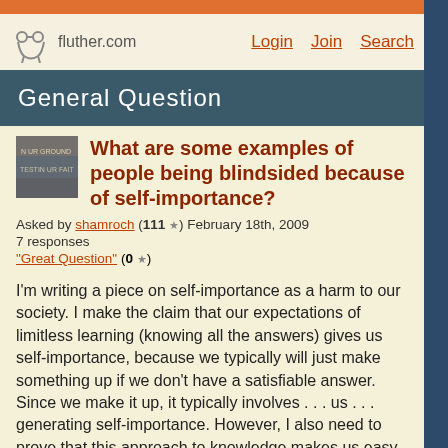fluther.com  Login  Join  Search
General Question
What are some examples of people being blindsided because of self-importance?
Asked by shamroch (111 ★) February 18th, 2009
7 responses
"Great Question" (0 ★)
I'm writing a piece on self-importance as a harm to our society. I make the claim that our expectations of limitless learning (knowing all the answers) gives us self-importance, because we typically will just make something up if we don't have a satisfiable answer. Since we make it up, it typically involves . . . us . . . generating self-importance. However, I also need to prove that this approach to knowledge makes us easy to blindside.
Currently, I'm using the example of the